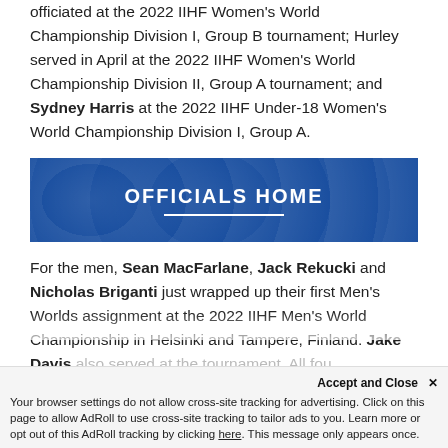officiated at the 2022 IIHF Women's World Championship Division I, Group B tournament; Hurley served in April at the 2022 IIHF Women's World Championship Division II, Group A tournament; and Sydney Harris at the 2022 IIHF Under-18 Women's World Championship Division I, Group A.
[Figure (other): Blue banner with white bold text reading OFFICIALS HOME and a white underline beneath it]
For the men, Sean MacFarlane, Jack Rekucki and Nicholas Briganti just wrapped up their first Men's Worlds assignment at the 2022 IIHF Men's World Championship in Helsinki and Tampere, Finland. Jake Davis also served at the tournament. All fou...
Accept and Close ✕
Your browser settings do not allow cross-site tracking for advertising. Click on this page to allow AdRoll to use cross-site tracking to tailor ads to you. Learn more or opt out of this AdRoll tracking by clicking here. This message only appears once.